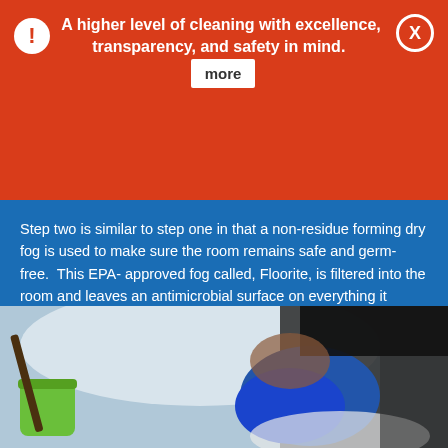A higher level of cleaning with excellence, transparency, and safety in mind. more
Step two is similar to step one in that a non-residue forming dry fog is used to make sure the room remains safe and germ-free.  This EPA- approved fog called, Floorite, is filtered into the room and leaves an antimicrobial surface on everything it touches. This guarantees that your daycare will be germ-free for 90 days, a statement that is sure to make your parents feel safe, comfortable, and happy.
[Figure (photo): Photo of a person wearing blue rubber gloves while cleaning a surface, with a green cleaning bucket visible on the left side]